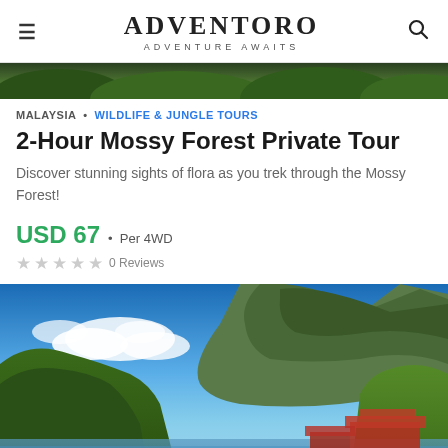ADVENTORO · ADVENTURE AWAITS
[Figure (photo): Partial view of jungle/forest top photo strip at top of page]
MALAYSIA · WILDLIFE & JUNGLE TOURS
2-Hour Mossy Forest Private Tour
Discover stunning sights of flora as you trek through the Mossy Forest!
USD 67 · Per 4WD
0 Reviews
[Figure (photo): Scenic photo of Langkawi featuring limestone karst hills covered in tropical jungle, blue sky with clouds, and structures with red roofs near water. Location label: Langkawi. Duration label: ~ 3.5 Hours.]